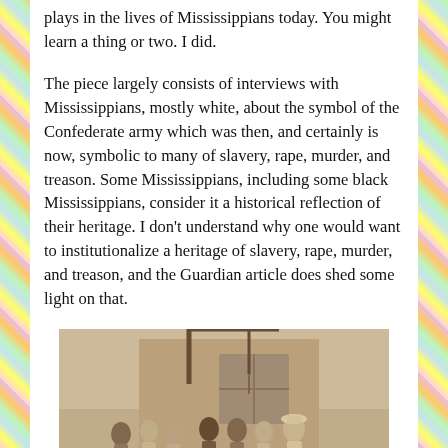plays in the lives of Mississippians today. You might learn a thing or two. I did.
The piece largely consists of interviews with Mississippians, mostly white, about the symbol of the Confederate army which was then, and certainly is now, symbolic to many of slavery, rape, murder, and treason. Some Mississippians, including some black Mississippians, consider it a historical reflection of their heritage. I don't understand why one would want to institutionalize a heritage of slavery, rape, murder, and treason, and the Guardian article does shed some light on that.
[Figure (photo): Black and white / sepia historical photograph showing a group of people (approximately 7-8 individuals, mix of men) standing in front of a building. There appears to be a wooden gallows or beam structure visible at the top of the image. The image has the quality of a mid-20th century photograph.]